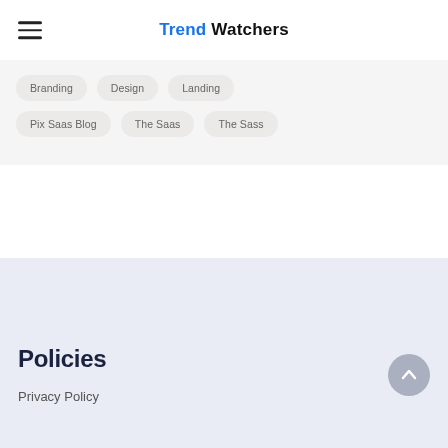Trend Watchers
Branding
Design
Landing
Pix Saas Blog
The Saas
The Sass
Policies
Privacy Policy